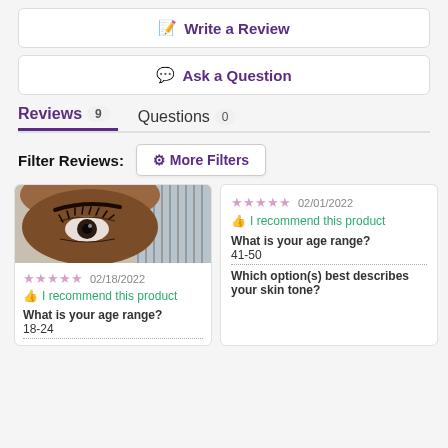✏ Write a Review
💬 Ask a Question
Reviews 9   Questions 0
Filter Reviews:  ⚙ More Filters
[Figure (photo): Close-up photo of a person's eye and brow]
★★★★★ 02/18/2022 👍 I recommend this product What is your age range? 18-24
★★★★★ 02/01/2022 👍 I recommend this product What is your age range? 41-50 Which option(s) best describes your skin tone?